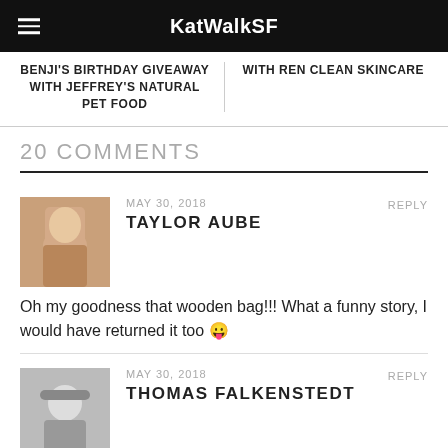KatWalkSF
BENJI'S BIRTHDAY GIVEAWAY WITH JEFFREY'S NATURAL PET FOOD
WITH REN CLEAN SKINCARE
20 COMMENTS
MAY 30, 2018
TAYLOR AUBE
REPLY
Oh my goodness that wooden bag!!! What a funny story, I would have returned it too 😛
MAY 30, 2018
THOMAS FALKENSTEDT
REPLY